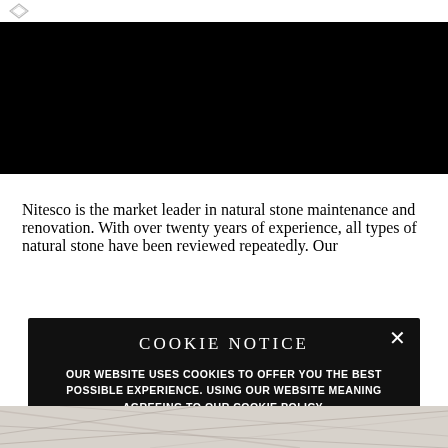[Figure (photo): Black hero image area at top of page]
Nitesco is the market leader in natural stone maintenance and renovation. With over twenty years of experience, all types of natural stone have been reviewed repeatedly. Our
COOKIE NOTICE
OUR WEBSITE USES COOKIES TO OFFER YOU THE BEST POSSIBLE EXPERIENCE. USING OUR WEBSITE MEANING AGREEING TO OUR COOKIE POLICY.
[Figure (photo): Marble stone texture strip at bottom of page]